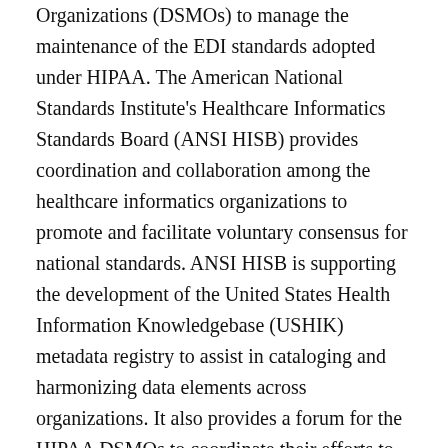Organizations (DSMOs) to manage the maintenance of the EDI standards adopted under HIPAA. The American National Standards Institute's Healthcare Informatics Standards Board (ANSI HISB) provides coordination and collaboration among the healthcare informatics organizations to promote and facilitate voluntary consensus for national standards. ANSI HISB is supporting the development of the United States Health Information Knowledgebase (USHIK) metadata registry to assist in cataloging and harmonizing data elements across organizations. It also provides a forum for the HIPAA DSMOs to coordinate their efforts to define a common HIPAA electronic signature standard. International organizations are also important. c The International Organization for Standardization's U. S. Technical Advisory Group (ISO US TAG) coordinates the positions of U. S. standard development organizations for representation at the ISO Technical Committee 215's